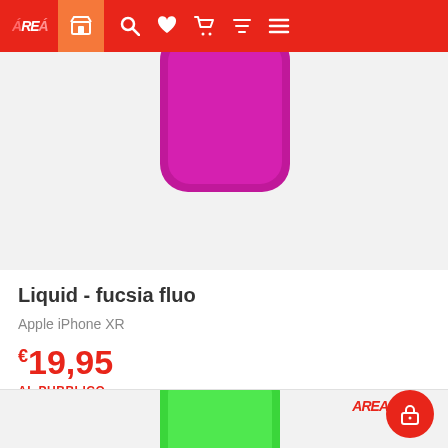AREA — navigation bar with store, search, wishlist, cart, filter, menu icons
[Figure (photo): Partial view of a magenta/fuchsia colored liquid silicone iPhone case (Apple iPhone XR) seen from top, on a light grey background]
Liquid - fucsia fluo
Apple iPhone XR
€19,95 AL PUBBLICO
[Figure (photo): Partial view of a green colored liquid silicone iPhone case on a light grey background, with AREA logo watermark and a red lock FAB button]